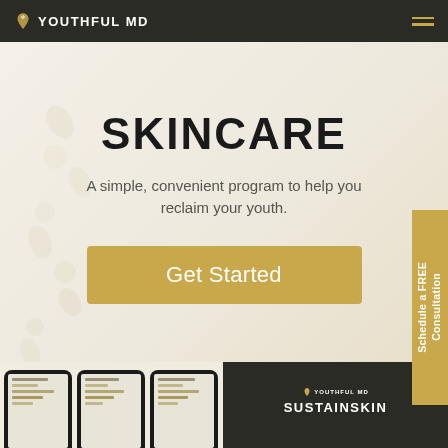YOUTHFUL MD
SKINCARE
A simple, convenient program to help you reclaim your youth.
Get Started
Schedule a FREE Consultation
[Figure (screenshot): Three mobile phone screenshots showing a tracking app interface, and a product box labeled SUSTAINSKIN by Youthful MD]
SUSTAINSKIN